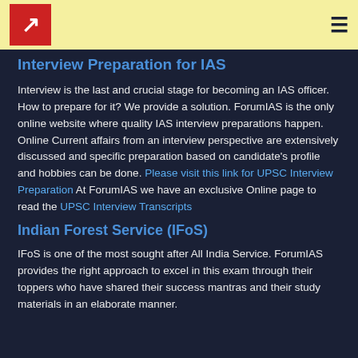Interview Preparation for IAS [logo and nav]
Interview Preparation for IAS
Interview is the last and crucial stage for becoming an IAS officer. How to prepare for it? We provide a solution. ForumIAS is the only online website where quality IAS interview preparations happen. Online Current affairs from an interview perspective are extensively discussed and specific preparation based on candidate's profile and hobbies can be done. Please visit this link for UPSC Interview Preparation At ForumIAS we have an exclusive Online page to read the UPSC Interview Transcripts
Indian Forest Service (IFoS)
IFoS is one of the most sought after All India Service. ForumIAS provides the right approach to excel in this exam through their toppers who have shared their success mantras and their study materials in an elaborate manner.